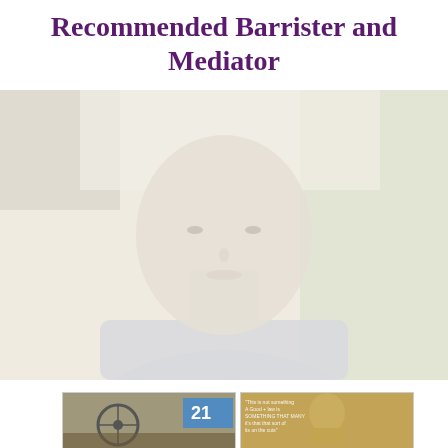Recommended Barrister and Mediator
[Figure (photo): Portrait photo of a bald middle-aged man in a light blue shirt, outdoors with trees in the background, faded/washed out look]
[Figure (photo): Small photo on the bottom left showing what appears to be a bicycle shop with the number 21 visible]
[Figure (photo): Small photo on the bottom right showing a golden/bronze bust or statue with text overlay that reads something about a barrister or law]